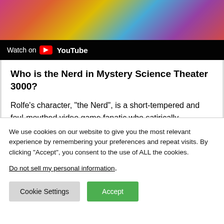[Figure (screenshot): YouTube video thumbnail showing colorful animated/illustrated art at the top, with a dark bar at the bottom reading 'Watch on YouTube' with the YouTube logo]
Who is the Nerd in Mystery Science Theater 3000?
Rolfe's character, “the Nerd”, is a short-tempered and foul-mouthed video game fanatic who satirically
We use cookies on our website to give you the most relevant experience by remembering your preferences and repeat visits. By clicking “Accept”, you consent to the use of ALL the cookies.
Do not sell my personal information.